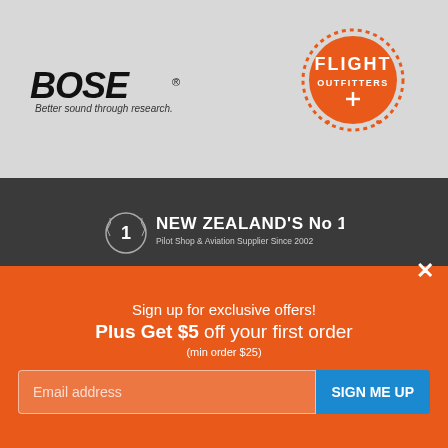[Figure (logo): Bose logo with tagline 'Better sound through research.']
[Figure (logo): Flight Outfitters orange circular logo]
[Figure (logo): New Zealand's No 1 Pilot Shop & Aviation Supplier Since 2002 badge with laurel wreath and number 1]
+ Information
+ Wholesale & Club Customers
Stay In Touch
Sign up to our newsletter
Be the first to know of exclusive
Sign up for exclusive offers!
Plus Get $5 off your first order
(min order $25)
Email address
SIGN ME UP